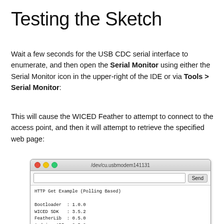Testing the Sketch
Wait a few seconds for the USB CDC serial interface to enumerate, and then open the Serial Monitor using either the Serial Monitor icon in the upper-right of the IDE or via Tools > Serial Monitor:
This will cause the WICED Feather to attempt to connect to the access point, and then it will attempt to retrieve the specified web page:
[Figure (screenshot): Serial Monitor window showing /dev/cu.usbmodem141131, with HTTP Get Example (Polling Based) output, Bootloader 1.0.0, WICED SDK 3.5.2, FeatherLib 0.5.0, Arduino API 0.5.0, connecting to HOMENETWORK, SSID HOMENETWORK (-73 dBm), Encryption WPA2_AES, MAC Address 44:39:C4:18:39:64]